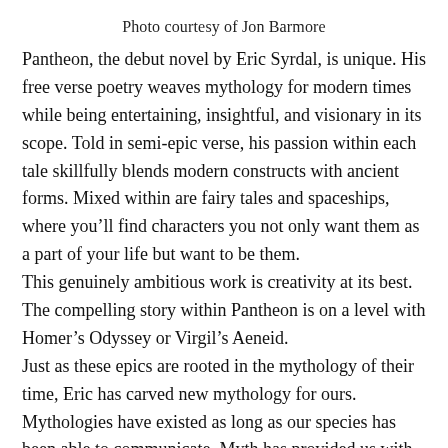Photo courtesy of Jon Barmore
Pantheon, the debut novel by Eric Syrdal, is unique. His free verse poetry weaves mythology for modern times while being entertaining, insightful, and visionary in its scope. Told in semi-epic verse, his passion within each tale skillfully blends modern constructs with ancient forms. Mixed within are fairy tales and spaceships, where you’ll find characters you not only want them as a part of your life but want to be them. This genuinely ambitious work is creativity at its best. The compelling story within Pantheon is on a level with Homer’s Odyssey or Virgil’s Aeneid. Just as these epics are rooted in the mythology of their time, Eric has carved new mythology for ours. Mythologies have existed as long as our species has been able to communicate. Myth has provided us with explanations for the world around us, and a sense of